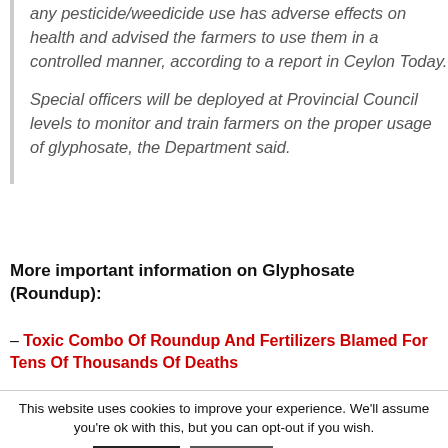any pesticide/weedicide use has adverse effects on health and advised the farmers to use them in a controlled manner, according to a report in Ceylon Today.

Special officers will be deployed at Provincial Council levels to monitor and train farmers on the proper usage of glyphosate, the Department said.
More important information on Glyphosate (Roundup):
– Toxic Combo Of Roundup And Fertilizers Blamed For Tens Of Thousands Of Deaths
This website uses cookies to improve your experience. We'll assume you're ok with this, but you can opt-out if you wish.
Accept | Reject | Read More
https://infiniteunknown.net/dsgvo/